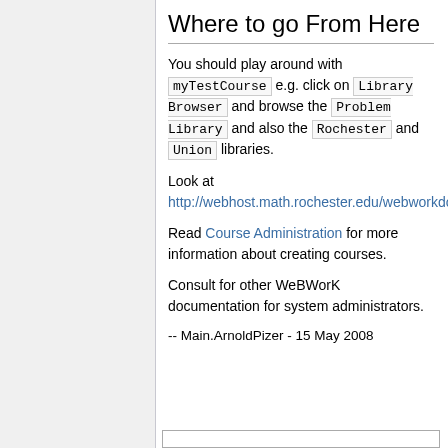Where to go From Here
You should play around with myTestCourse e.g. click on Library Browser and browse the Problem Library and also the Rochester and Union libraries.
Look at http://webhost.math.rochester.edu/webworkdocs/docs/courseadmin/usingwebwork
Read Course Administration for more information about creating courses.
Consult for other WeBWorK documentation for system administrators.
-- Main.ArnoldPizer - 15 May 2008